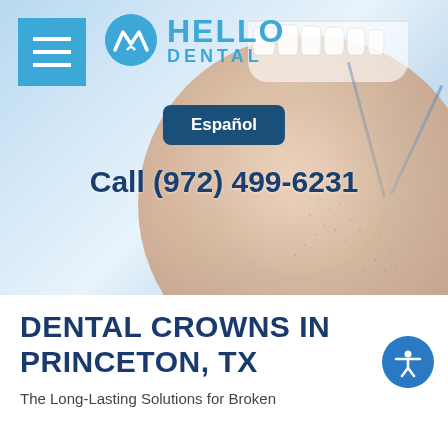[Figure (photo): Hero banner showing a dental patient with a beard getting a dental procedure, with dental tools visible near the mouth. Background is light blue. Hello Dental logo with blue menu button in top-left corner.]
HELLO DENTAL
Español
Call (972) 499-6231
DENTAL CROWNS IN PRINCETON, TX
The Long-Lasting Solutions for Broken